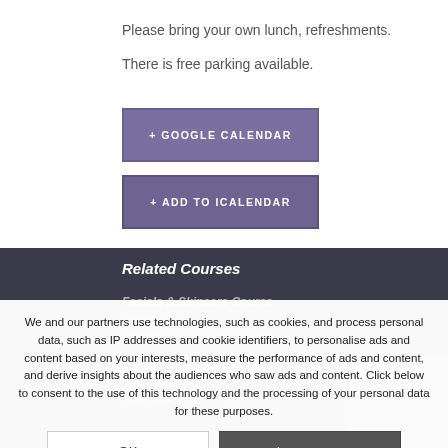Please bring your own lunch, refreshments.
There is free parking available.
+ GOOGLE CALENDAR
+ ADD TO ICALENDAR
Related Courses
Facials & Skincare Course
October 2022
October 2 @ 9:00 am - 5:00pm
Facials & Skincare Course
November 2022
November 1 @ ... - ...pm
We and our partners use technologies, such as cookies, and process personal data, such as IP addresses and cookie identifiers, to personalise ads and content based on your interests, measure the performance of ads and content, and derive insights about the audiences who saw ads and content. Click below to consent to the use of this technology and the processing of your personal data for these purposes.
OK
Learn more